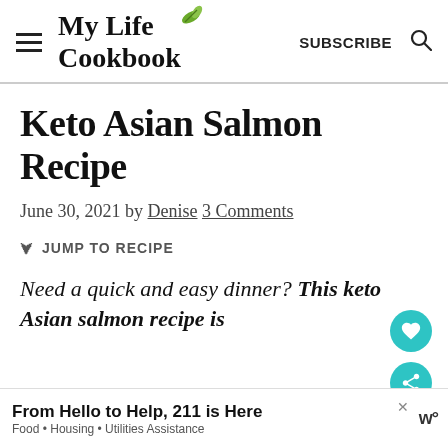My Life Cookbook — SUBSCRIBE
Keto Asian Salmon Recipe
June 30, 2021 by Denise 3 Comments
JUMP TO RECIPE
Need a quick and easy dinner? This keto Asian salmon recipe is
From Hello to Help, 211 is Here — Food • Housing • Utilities Assistance